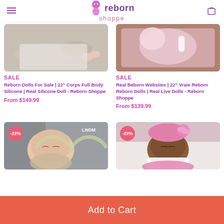reborn shoppe
[Figure (photo): Reborn doll baby lying down, close-up of feet and lower body wrapped in white knit]
SALE
Reborn Dolls For Sale | 22" Corps Full Body Silicone | Real Silicone Doll - Reborn Shoppe
From $149.99
[Figure (photo): Reborn doll baby wrapped in pink cloth with a toy, lying on a wooden surface]
SALE
Real Beborn Websites | 22" Vraie Reborn Reborn Dolls | Real Live Dolls - Reborn Shoppe
From $139.99
[Figure (photo): Reborn doll baby sleeping on gray fur, with -22% badge and LNDM watermark]
[Figure (photo): Reborn baby doll with pink bow and outfit, lying on white fur, with -22% badge]
Add to Cart